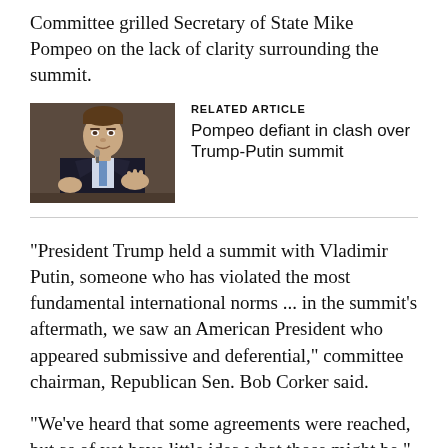Committee grilled Secretary of State Mike Pompeo on the lack of clarity surrounding the summit.
[Figure (photo): Photo of Mike Pompeo gesturing at a hearing]
RELATED ARTICLE
Pompeo defiant in clash over Trump-Putin summit
“President Trump held a summit with Vladimir Putin, someone who has violated the most fundamental international norms ... in the summit’s aftermath, we saw an American President who appeared submissive and deferential,” committee chairman, Republican Sen. Bob Corker said.
“We’ve heard that some agreements were reached, but as of yet have little idea what those might be,” he added.